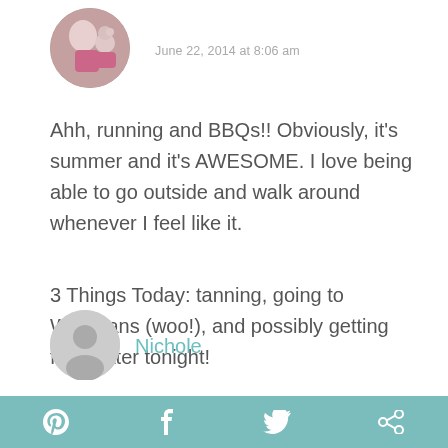[Figure (photo): Circular avatar photo of a person with a small dog, pink top]
June 22, 2014 at 8:06 am
Ahh, running and BBQs!! Obviously, it's summer and it's AWESOME. I love being able to go outside and walk around whenever I feel like it.
3 Things Today: tanning, going to Wegmans (woo!), and possibly getting froyo later tonight!
REPLY
[Figure (illustration): Generic user avatar icon (person silhouette) in light gray circle]
Nichole
[Figure (infographic): Teal bottom bar with Pinterest, Facebook, Twitter, and share social media icons in white]